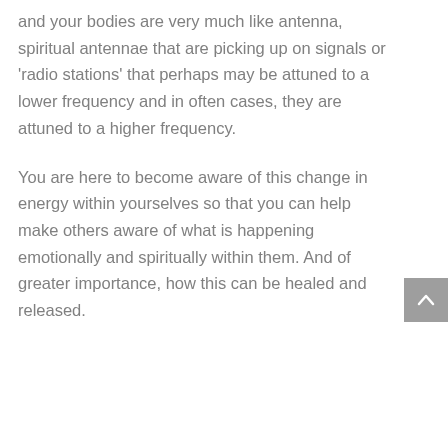and your bodies are very much like antenna, spiritual antennae that are picking up on signals or 'radio stations' that perhaps may be attuned to a lower frequency and in often cases, they are attuned to a higher frequency.
You are here to become aware of this change in energy within yourselves so that you can help make others aware of what is happening emotionally and spiritually within them. And of greater importance, how this can be healed and released.